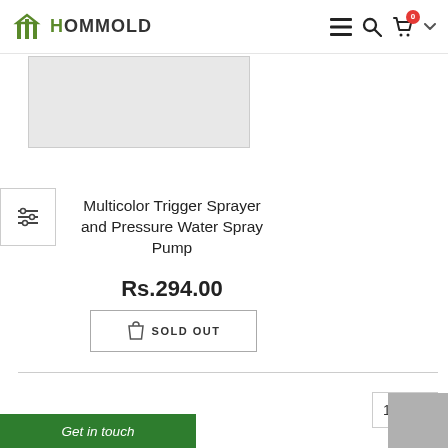HOMMOLD — navigation header with menu, search, and cart icons
[Figure (photo): Product image placeholder (gray rectangle), partially visible]
Multicolor Trigger Sprayer and Pressure Water Spray Pump
Rs.294.00
SOLD OUT
16
Get in touch